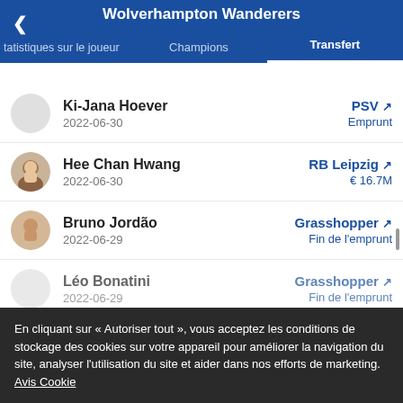Wolverhampton Wanderers
tatistiques sur le joueur | Champions | Transfert
Ki-Jana Hoever | 2022-06-30 | PSV ↗ | Emprunt
Hee Chan Hwang | 2022-06-30 | RB Leipzig ↗ | € 16.7M
Bruno Jordão | 2022-06-29 | Grasshopper ↗ | Fin de l'emprunt
Léo Bonatini | 2022-06-29 | Grasshopper ↗ | Fin de l'emprunt
En cliquant sur « Autoriser tout », vous acceptez les conditions de stockage des cookies sur votre appareil pour améliorer la navigation du site, analyser l'utilisation du site et aider dans nos efforts de marketing. Avis Cookie